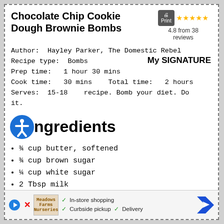Chocolate Chip Cookie Dough Brownie Bombs
Author: Hayley Parker, The Domestic Rebel
Recipe type: Bombs
Prep time: 1 hour 30 mins
Cook time: 30 mins   Total time: 2 hours
Serves: 15-18   recipe. Bomb your diet. Do it.

My SIGNATURE
Ingredients
¾ cup butter, softened
¾ cup brown sugar
¼ cup white sugar
2 Tbsp milk
1 tsp vanilla extract
2 cups all-purpose flour
Pinch salt
2 cups miniature chocolate chips, divided